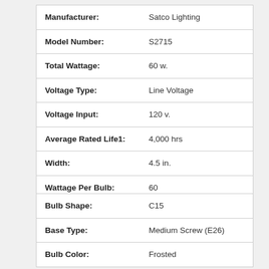| Attribute | Value |
| --- | --- |
| Manufacturer: | Satco Lighting |
| Model Number: | S2715 |
| Total Wattage: | 60 w. |
| Voltage Type: | Line Voltage |
| Voltage Input: | 120 v. |
| Average Rated Life1: | 4,000 hrs |
| Width: | 4.5 in. |
| Wattage Per Bulb: | 60 |
| Bulb Type: | Incandescent |
| Attribute | Value |
| --- | --- |
| Bulb Shape: | C15 |
| Base Type: | Medium Screw (E26) |
| Bulb Color: | Frosted |